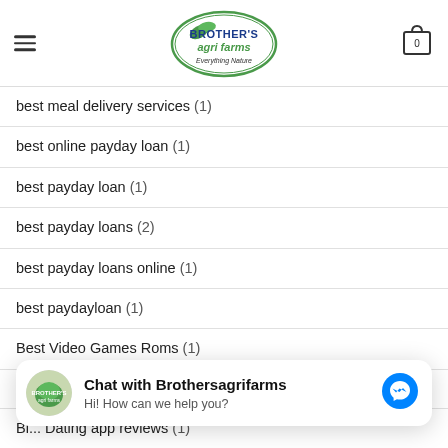Brother's Agri Farms - Everything Nature
best meal delivery services (1)
best online payday loan (1)
best payday loan (1)
best payday loans (2)
best payday loans online (1)
best paydayloan (1)
Best Video Games Roms (1)
bgclive avis (1)
[Figure (screenshot): Chat with Brothersagrifarms widget with logo, text 'Hi! How can we help you?' and Messenger icon]
Bi... Dating app reviews (1)